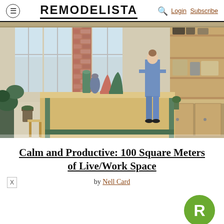REMODELISTA — Login  Subscribe
[Figure (photo): Interior workspace photo showing a large wooden worktable in center with sculptural objects, green metal legs, plants in foreground, large industrial windows with brick column, a woman in denim standing looking out, and wooden shelving unit with objects on the right.]
Calm and Productive: 100 Square Meters of Live/Work Space
by Nell Card